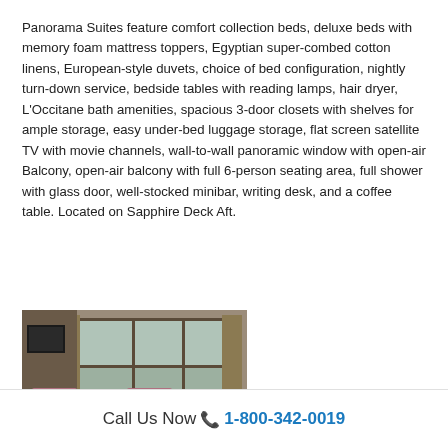Panorama Suites feature comfort collection beds, deluxe beds with memory foam mattress toppers, Egyptian super-combed cotton linens, European-style duvets, choice of bed configuration, nightly turn-down service, bedside tables with reading lamps, hair dryer, L'Occitane bath amenities, spacious 3-door closets with shelves for ample storage, easy under-bed luggage storage, flat screen satellite TV with movie channels, wall-to-wall panoramic window with open-air Balcony, open-air balcony with full 6-person seating area, full shower with glass door, well-stocked minibar, writing desk, and a coffee table. Located on Sapphire Deck Aft.
[Figure (photo): Interior photo of a Panorama Suite showing a seating area with pink/mauve armchairs around a small table, large panoramic windows with curtains, and a view of water outside. A TV is visible on the left wall.]
Call Us Now 📞 1-800-342-0019